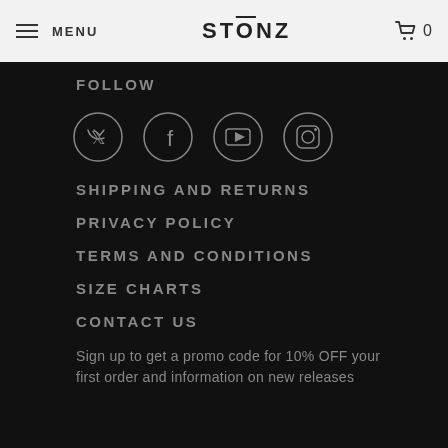MENU | STONZ | 0
FOLLOW
[Figure (other): Social media icons in circles: Twitter, Facebook, YouTube, Instagram]
SHIPPING AND RETURNS
PRIVACY POLICY
TERMS AND CONDITIONS
SIZE CHARTS
CONTACT US
Sign up to get a promo code for 10% OFF your first order and information on new releases